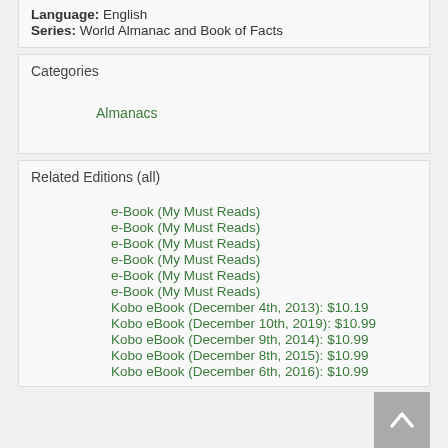Language: English
Series: World Almanac and Book of Facts
Categories
Almanacs
Related Editions (all)
e-Book (My Must Reads)
e-Book (My Must Reads)
e-Book (My Must Reads)
e-Book (My Must Reads)
e-Book (My Must Reads)
e-Book (My Must Reads)
Kobo eBook (December 4th, 2013): $10.19
Kobo eBook (December 10th, 2019): $10.99
Kobo eBook (December 9th, 2014): $10.99
Kobo eBook (December 8th, 2015): $10.99
Kobo eBook (December 6th, 2016): $10.99